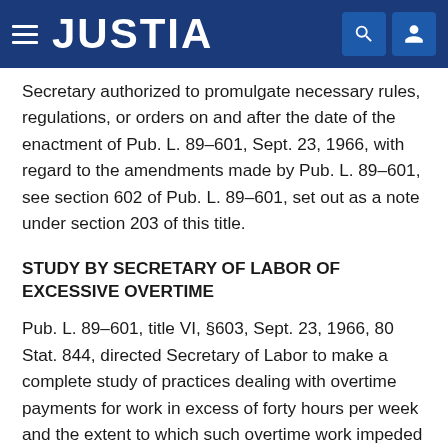JUSTIA
Secretary authorized to promulgate necessary rules, regulations, or orders on and after the date of the enactment of Pub. L. 89–601, Sept. 23, 1966, with regard to the amendments made by Pub. L. 89–601, see section 602 of Pub. L. 89–601, set out as a note under section 203 of this title.
STUDY BY SECRETARY OF LABOR OF EXCESSIVE OVERTIME
Pub. L. 89–601, title VI, §603, Sept. 23, 1966, 80 Stat. 844, directed Secretary of Labor to make a complete study of practices dealing with overtime payments for work in excess of forty hours per week and the extent to which such overtime work impeded the creation of new job opportunities in American industry and instructed him to report to the Congress by July 1, 1967, the findings of such survey, with recommendations or amendments, the